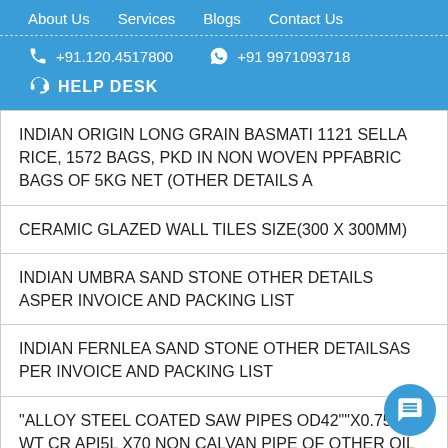About Us   Services   Blogs   Contact Us
+91.120.4517800   +91 9971093718
HELP DESK
INDIAN ORIGIN LONG GRAIN BASMATI 1121 SELLA RICE, 1572 BAGS, PKD IN NON WOVEN PPFABRIC BAGS OF 5KG NET (OTHER DETAILS A
CERAMIC GLAZED WALL TILES SIZE(300 X 300MM)
INDIAN UMBRA SAND STONE OTHER DETAILS ASPER INVOICE AND PACKING LIST
INDIAN FERNLEA SAND STONE OTHER DETAILSAS PER INVOICE AND PACKING LIST
"ALLOY STEEL COATED SAW PIPES OD42""X0.750"" WT CR API5L X70 NON CALVAN PIPE OF OTHER OIL